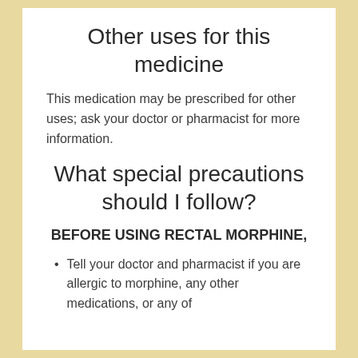Other uses for this medicine
This medication may be prescribed for other uses; ask your doctor or pharmacist for more information.
What special precautions should I follow?
BEFORE USING RECTAL MORPHINE,
Tell your doctor and pharmacist if you are allergic to morphine, any other medications, or any of